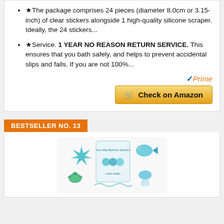★The package comprises 24 pieces (diameter 8.0cm or 3.15-inch) of clear stickers alongside 1 high-quality silicone scraper. Ideally, the 24 stickers...
★Service. 1 YEAR NO REASON RETURN SERVICE. This ensures that you bath safely, and helps to prevent accidental slips and falls. If you are not 100%...
[Figure (logo): Amazon Prime badge with checkmark]
[Figure (other): Check on Amazon button - orange/yellow gradient button with shopping cart icon]
BESTSELLER NO. 13
[Figure (photo): Product image showing non-slip bathtub stickers with ocean/sea creature designs including starfish, fish, turtle, jellyfish in teal/blue colors]